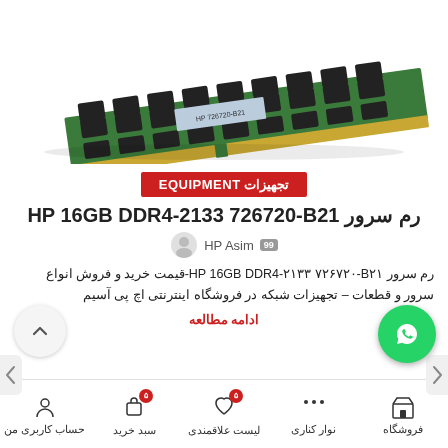[Figure (photo): RAM stick - HP 16GB DDR4-2133 726720-B21 server memory module, green PCB with black chips, angled view on white background]
تجهیزات EQUIPMENT
رم سرور HP 16GB DDR4-2133 726720-B21
HP Asim
رم سرور HP 16GB DDR4-2133 726720-B21-قیمت خرید و فروش انواع سرور و قطعات – تجهیزات شبکه در فروشگاه اینترنتی اچ پی آسیم
ادامه مطالعه
حساب کاربری من | سبد خرید | لیست علاقمندی | نوار کناری | فروشگاه